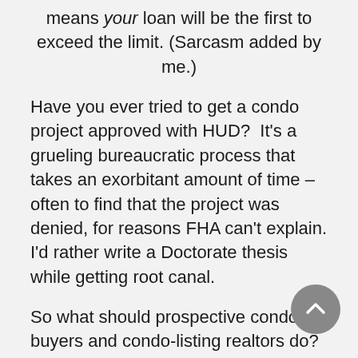means your loan will be the first to exceed the limit. (Sarcasm added by me.)
Have you ever tried to get a condo project approved with HUD? It's a grueling bureaucratic process that takes an exorbitant amount of time – often to find that the project was denied, for reasons FHA can't explain. I'd rather write a Doctorate thesis while getting root canal.
So what should prospective condo buyers and condo-listing realtors do? If you are a buyer with less than perfect credit, get off the fence and BUY NOW. If you can't close by October 1st, or you are a condo-realtor looking for a hard wall to bank your head against, all hope